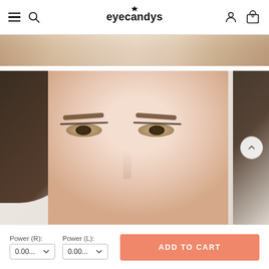eyecandys
[Figure (photo): Close-up cropped photo of a woman's forehead and eyes with subtle makeup, showing top of nose bridge — partial strip at top of page]
[Figure (photo): Close-up photo of an Asian woman's face showing eyes with colored contact lenses and subtle makeup, hair dark brown, background white]
Power (R):
Power (L):
0.00...
0.00...
ADD TO CART